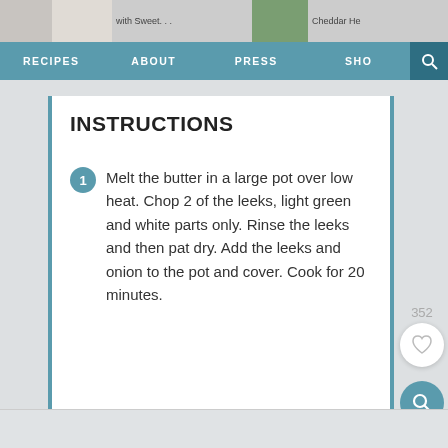RECIPES   ABOUT   PRESS   SHOP
INSTRUCTIONS
Melt the butter in a large pot over low heat. Chop 2 of the leeks, light green and white parts only. Rinse the leeks and then pat dry. Add the leeks and onion to the pot and cover. Cook for 20 minutes.